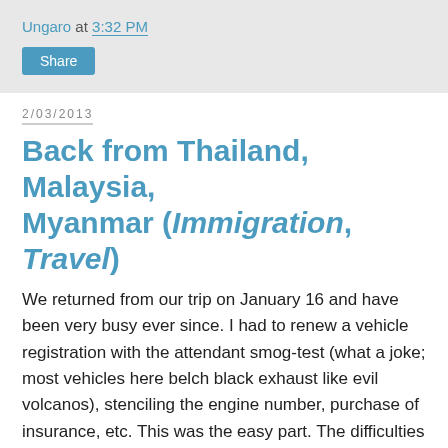Ungaro at 3:32 PM
Share
2/03/2013
Back from Thailand, Malaysia, Myanmar (Immigration, Travel)
We returned from our trip on January 16 and have been very busy ever since. I had to renew a vehicle registration with the attendant smog-test (what a joke; most vehicles here belch black exhaust like evil volcanos), stenciling the engine number, purchase of insurance, etc. This was the easy part. The difficulties began at the Bureau of Immigration (BI) in scenic Mandaue City.
I have permanent residency (visa 13-A) in the Philippines, which is granted at first for a one-year probationary period. There is an incredible amount of paperwork involved, expenses of around 9,000 pesos, and an all day spent at the